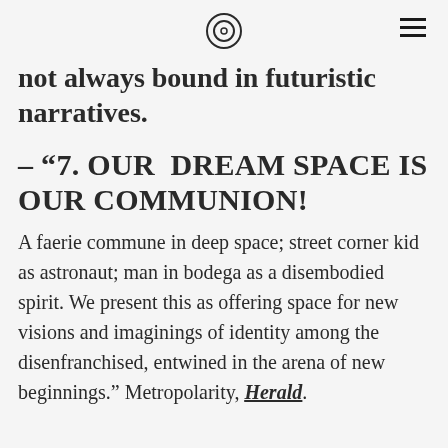[logo icon] [hamburger menu]
not always bound in futuristic narratives.
– “7. OUR DREAM SPACE IS OUR COMMUNION!
A faerie commune in deep space; street corner kid as astronaut; man in bodega as a disembodied spirit. We present this as offering space for new visions and imaginings of identity among the disenfranchised, entwined in the arena of new beginnings.” Metropolarity, Herald.